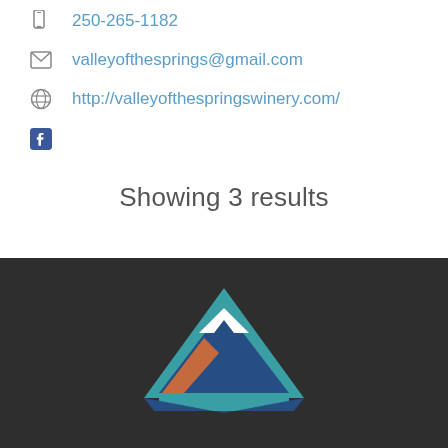250-265-1182
valleyofthesprings@gmail.com
http://valleyofthespringswinery.com/
Facebook icon
Showing 3 results
[Figure (logo): Mountain/house logo with teal, dark blue and orange colors on dark background at bottom of page]